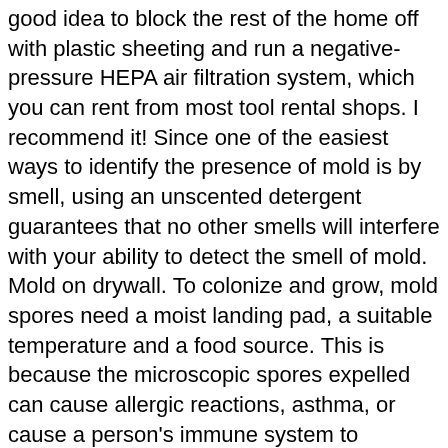good idea to block the rest of the home off with plastic sheeting and run a negative-pressure HEPA air filtration system, which you can rent from most tool rental shops. I recommend it! Since one of the easiest ways to identify the presence of mold is by smell, using an unscented detergent guarantees that no other smells will interfere with your ability to detect the smell of mold. Mold on drywall. To colonize and grow, mold spores need a moist landing pad, a suitable temperature and a food source. This is because the microscopic spores expelled can cause allergic reactions, asthma, or cause a person's immune system to weaken. Mold can cause serious respiratory problems and other health conditions and should be removed as soon as it is noticed. You should make sure to cut out an area that covers at least two of the wooden beams behind the drywall. My other house was 10 years older and never had mold. Removing Mold Safely. Let the bleach soak into the mold on the walls for several minutes, then use a scrub brush to remove the stains. Mold on drywall. Mold spores are everywhere. Unfortunately, it is extremely difficult to remove